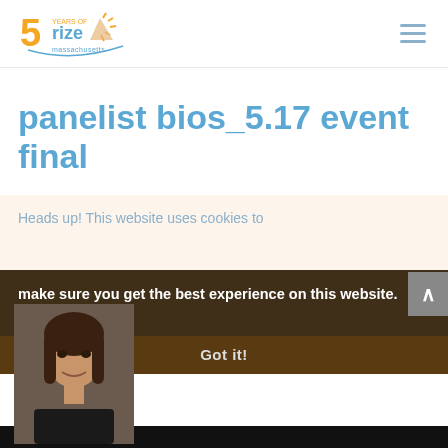5 Years of Rize Massachusetts [logo] [hamburger menu]
panelist bios_5.17 event final
by Julie Burns | May, 2021 | 0 comments
Heads up! This website uses cookies to make sure you get the best experience on this website.  Privacy Policy
Got it!
[Figure (photo): Portrait photo of a woman with dark hair wearing dark clothing]